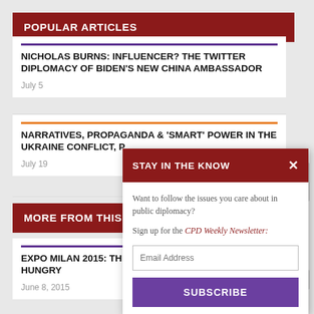POPULAR ARTICLES
NICHOLAS BURNS: INFLUENCER? THE TWITTER DIPLOMACY OF BIDEN'S NEW CHINA AMBASSADOR
July 5
NARRATIVES, PROPAGANDA & 'SMART' POWER IN THE UKRAINE CONFLICT, P
July 19
MORE FROM THIS AU
EXPO MILAN 2015: THI HUNGRY
June 8, 2015
STAY IN THE KNOW
Want to follow the issues you care about in public diplomacy?
Sign up for the CPD Weekly Newsletter:
Email Address
SUBSCRIBE